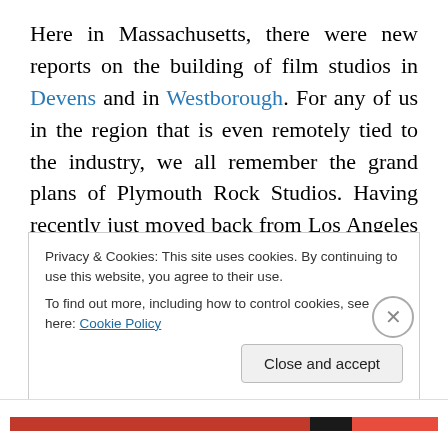Here in Massachusetts, there were new reports on the building of film studios in Devens and in Westborough. For any of us in the region that is even remotely tied to the industry, we all remember the grand plans of Plymouth Rock Studios. Having recently just moved back from Los Angeles at the time I knew Plymouth was never going to happen. First, even with the tax credit benefits of the state (and they are nicely generous), there were simply too many empty stages in Los Angeles and unless you signed
Privacy & Cookies: This site uses cookies. By continuing to use this website, you agree to their use.
To find out more, including how to control cookies, see here: Cookie Policy